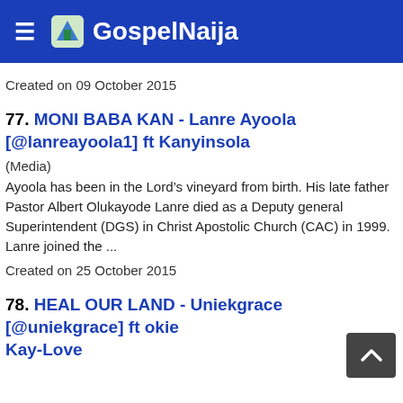GospelNaija
Created on 09 October 2015
77. MONI BABA KAN - Lanre Ayoola [@lanreayoola1] ft Kanyinsola
(Media)
Ayoola has been in the Lord’s vineyard from birth. His late father Pastor Albert Olukayode Lanre died as a Deputy general Superintendent (DGS) in Christ Apostolic Church (CAC) in 1999. Lanre joined the ...
Created on 25 October 2015
78. HEAL OUR LAND - Uniekgrace [@uniekgrace] ft okie Kay-Love